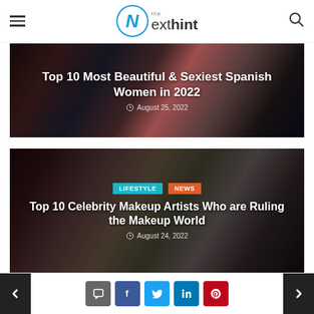The Next Hint - navigation header with hamburger menu and search icon
[Figure (photo): Article thumbnail showing beautiful Spanish women, dark background with overlay text]
Top 10 Most Beautiful & Sexiest Spanish Women in 2022
August 25, 2022
[Figure (photo): Article thumbnail showing celebrity makeup artists, dark photo background with LIFESTYLE and NEWS tags]
LIFESTYLE  NEWS
Top 10 Celebrity Makeup Artists Who are Ruling the Makeup World
August 24, 2022
Navigation: Previous, Comment, Facebook, Twitter, LinkedIn, Pinterest, Next